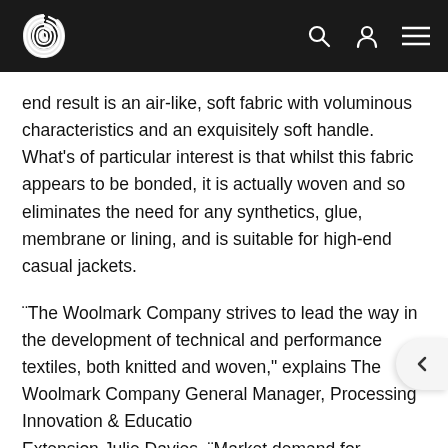The Woolmark Company logo with search, account, and menu icons
end result is an air-like, soft fabric with voluminous characteristics and an exquisitely soft handle. What's of particular interest is that whilst this fabric appears to be bonded, it is actually woven and so eliminates the need for any synthetics, glue, membrane or lining, and is suitable for high-end casual jackets.
¨The Woolmark Company strives to lead the way in the development of technical and performance textiles, both knitted and woven," explains The Woolmark Company General Manager, Processing Innovation & Education Extension Julie Davies. ¨Market demand for technical fibres continues to increase and the development of